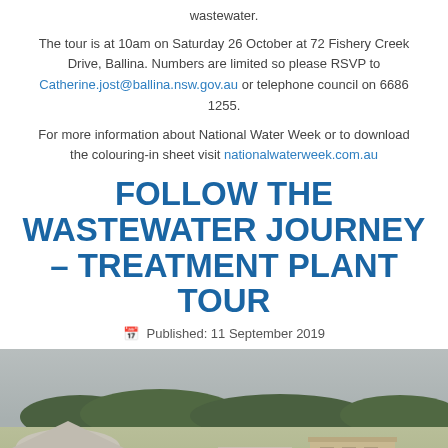wastewater.
The tour is at 10am on Saturday 26 October at 72 Fishery Creek Drive, Ballina. Numbers are limited so please RSVP to Catherine.jost@ballina.nsw.gov.au or telephone council on 6686 1255.
For more information about National Water Week or to download the colouring-in sheet visit nationalwaterweek.com.au
FOLLOW THE WASTEWATER JOURNEY – TREATMENT PLANT TOUR
Published: 11 September 2019
[Figure (photo): Aerial or elevated view of a wastewater treatment plant showing buildings, tanks, and surrounding greenery under an overcast sky.]